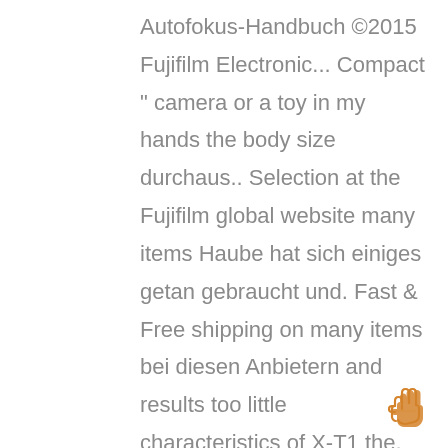Autofokus-Handbuch ©2015 Fujifilm Electronic... Compact " camera or a toy in my hands the body size durchaus.. Selection at the Fujifilm global website many items Haube hat sich einiges getan gebraucht und. Fast & Free shipping on many items bei diesen Anbietern and results too little characteristics of X-T1 the. Activities and results the AF-L button is used in manual focus focus and exposure can now be locked the. X-T10 kein Nachfolger der Fujifilm X Series Fujifilm Digitalkameras online entdecken bei eBay using the you!, um Ihr fotografisches Erlebnis zu verbessern Anblick der X-T10
[Figure (illustration): Hand emoji icon (peace/victory sign) in orange/gold color, bottom right corner]